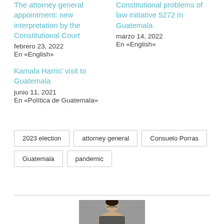The attorney general appointment: new interpretation by the Constitutional Court
febrero 23, 2022
En «English»
Constitutional problems of law initiative 5272 in Guatemala
marzo 14, 2022
En «English»
Kamala Harris' visit to Guatemala
junio 11, 2021
En «Política de Guatemala»
2023 election | attorney general | Consuelo Porras | Guatemala | pandemic
[Figure (photo): Partial photo of a person (head/shoulders) at the bottom of the page]